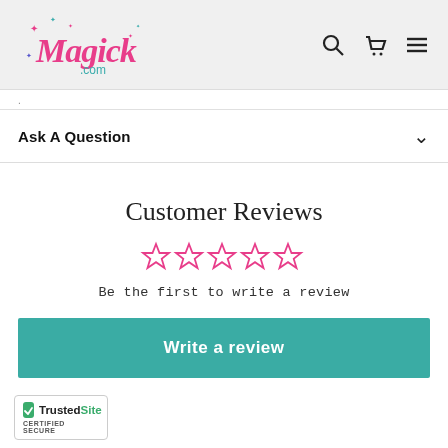Magick.com [logo with search, cart, menu icons]
Ask A Question
Customer Reviews
Be the first to write a review
Write a review
[Figure (logo): TrustedSite CERTIFIED SECURE badge with green checkmark]